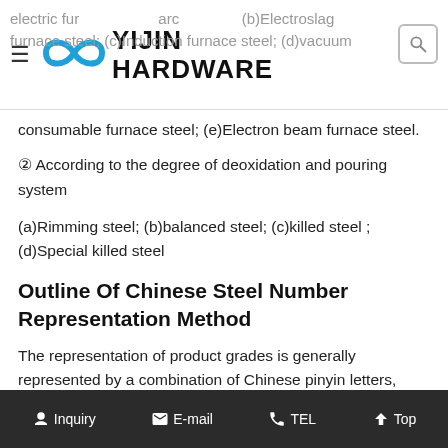YIJIN HARDWARE
electric furnace steel; (a)arc furnace steel; (b)Electroslag furnace steel; (c)Induction furnace steel; (d)Vacuum consumable furnace steel; (e)Electron beam furnace steel.
② According to the degree of deoxidation and pouring system
(a)Rimming steel; (b)balanced steel; (c)killed steel ; (d)Special killed steel
Outline Of Chinese Steel Number Representation Method
The representation of product grades is generally represented by a combination of Chinese pinyin letters, chemical element symbols, and Arabic numerals. That is:
Inquiry  E-mail  TEL  Top